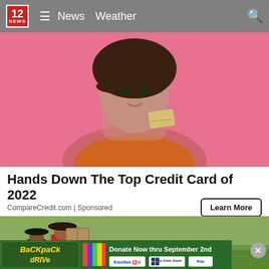12 NEWS  ≡  News  Weather  🔍
[Figure (photo): Woman holding a credit card against pink background, wearing orange top]
Hands Down The Top Credit Card of 2022
CompareCredit.com | Sponsored
Learn More
[Figure (photo): Workers in a field, one carrying a large box on their back]
[Figure (infographic): Backpack Drive donation banner: Donate Now thru September 2nd, Excellus, Tioga State Bank, FM sponsor logos]